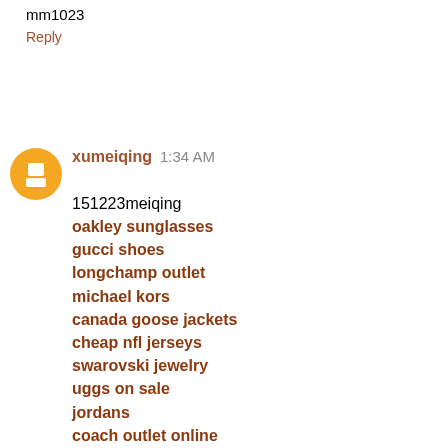mm1023
Reply
xumeiqing  1:34 AM
151223meiqing
oakley sunglasses
gucci shoes
longchamp outlet
michael kors
canada goose jackets
cheap nfl jerseys
swarovski jewelry
uggs on sale
jordans
coach outlet online
concords 11
polo ralph lauren outlet
louis vuitton outlet stores
cheap oakley sunglasses
michael kors outlet online
cheap jordans